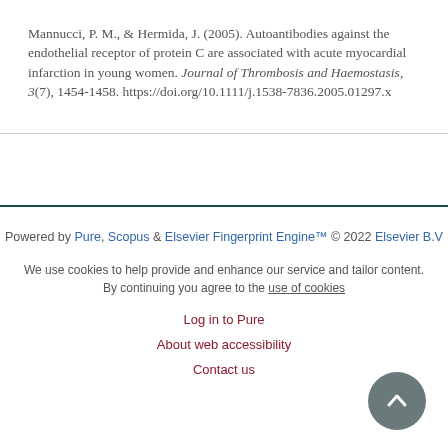Mannucci, P. M., & Hermida, J. (2005). Autoantibodies against the endothelial receptor of protein C are associated with acute myocardial infarction in young women. Journal of Thrombosis and Haemostasis, 3(7), 1454-1458. https://doi.org/10.1111/j.1538-7836.2005.01297.x
Powered by Pure, Scopus & Elsevier Fingerprint Engine™ © 2022 Elsevier B.V

We use cookies to help provide and enhance our service and tailor content. By continuing you agree to the use of cookies

Log in to Pure

About web accessibility

Contact us